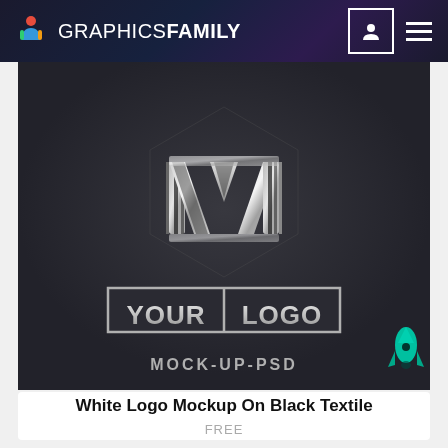GRAPHICS FAMILY
[Figure (screenshot): A dark charcoal background with a metallic 3D hexagonal logo mark above the text 'YOUR LOGO MOCK-UP-PSD' rendered in silver/chrome style. The logo features angular geometric shapes resembling letters M and Z. 'YOUR LOGO' appears in a rectangular bordered box and 'MOCK-UP-PSD' appears below in silver text.]
White Logo Mockup On Black Textile
FREE